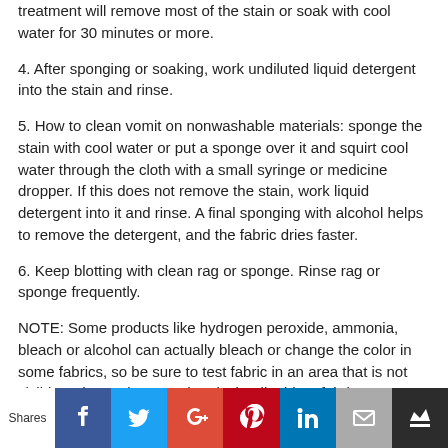treatment will remove most of the stain or soak with cool water for 30 minutes or more.
4. After sponging or soaking, work undiluted liquid detergent into the stain and rinse.
5. How to clean vomit on nonwashable materials: sponge the stain with cool water or put a sponge over it and squirt cool water through the cloth with a small syringe or medicine dropper. If this does not remove the stain, work liquid detergent into it and rinse. A final sponging with alcohol helps to remove the detergent, and the fabric dries faster.
6. Keep blotting with clean rag or sponge. Rinse rag or sponge frequently.
NOTE: Some products like hydrogen peroxide, ammonia, bleach or alcohol can actually bleach or change the color in some fabrics, so be sure to test fabric in an area that is not visible. When using any chemical or liquid on fabric you should PROCEED WITH CAUTION. If you are unsure as to how your carpet or upholstery might be affected you should call a